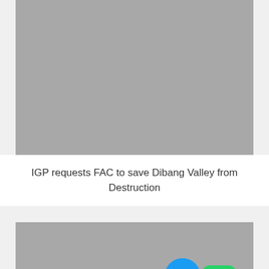[Figure (photo): Large grey placeholder image at the top of the page, representing a photo related to the article about IGP requests FAC to save Dibang Valley from Destruction.]
IGP requests FAC to save Dibang Valley from Destruction
[Figure (photo): Grey placeholder image at the bottom of the page with a small thumbnail image overlay in the bottom-left corner, and social media buttons (Facebook Messenger and WhatsApp) in the bottom-right corner.]